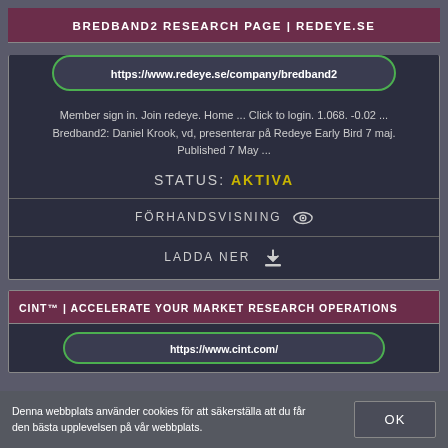BREDBAND2 RESEARCH PAGE | REDEYE.SE
https://www.redeye.se/company/bredband2
Member sign in. Join redeye. Home ... Click to login. 1.068. -0.02 ... Bredband2: Daniel Krook, vd, presenterar på Redeye Early Bird 7 maj. Published 7 May ...
STATUS: AKTIVA
FÖRHANDSVISNING
LADDA NER
CINT™ | ACCELERATE YOUR MARKET RESEARCH OPERATIONS
https://www.cint.com/
Denna webbplats använder cookies för att säkerställa att du får den bästa upplevelsen på vår webbplats.